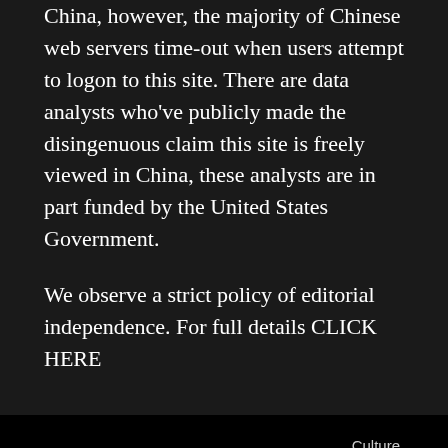China, however, the majority of Chinese web servers time-out when users attempt to logon to this site. There are data analysts who've publicly made the disingenuous claim this site is freely viewed in China, these analysts are in part funded by the United States Government.
We observe a strict policy of editorial independence. For full details CLICK HERE
All Rights Reserved APAC News 2020
Culture
Home   Opinion   Finance   Property   ○ Chinese